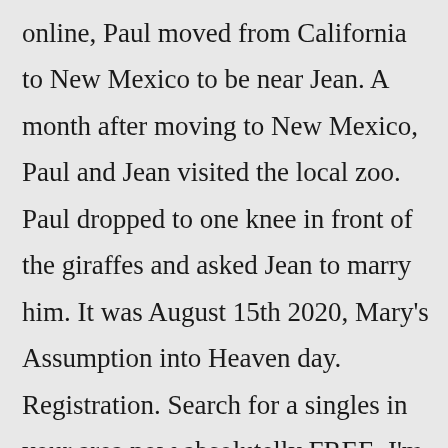online, Paul moved from California to New Mexico to be near Jean. A month after moving to New Mexico, Paul and Jean visited the local zoo. Paul dropped to one knee in front of the giraffes and asked Jean to marry him. It was August 15th 2020, Mary's Assumption into Heaven day. Registration. Search for a singles in your area now absolutelly FREE. I'm a : Male Female * * Mexico Ciudad de Mexico